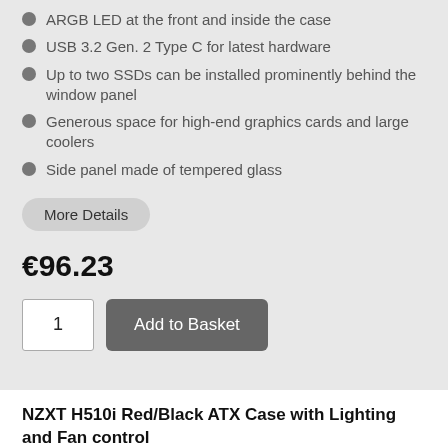ARGB LED at the front and inside the case
USB 3.2 Gen. 2 Type C for latest hardware
Up to two SSDs can be installed prominently behind the window panel
Generous space for high-end graphics cards and large coolers
Side panel made of tempered glass
More Details
€96.23
1
Add to Basket
NZXT H510i Red/Black ATX Case with Lighting and Fan control
5 in stock. Ships today if ordered within 10h 0m.